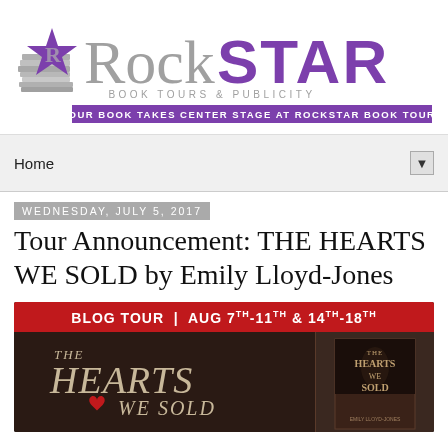[Figure (logo): RockStar Book Tours & Publicity logo with book stack icon and purple star, tagline: YOUR BOOK TAKES CENTER STAGE AT ROCKSTAR BOOK TOURS]
Home
Wednesday, July 5, 2017
Tour Announcement: THE HEARTS WE SOLD by Emily Lloyd-Jones
[Figure (infographic): Blog tour banner image for THE HEARTS WE SOLD. Red bar reads: BLOG TOUR | AUG 7TH-11TH & 14TH-18TH. Dark background shows The Hearts We Sold book title in decorative font with a heart, and book cover thumbnail on right.]